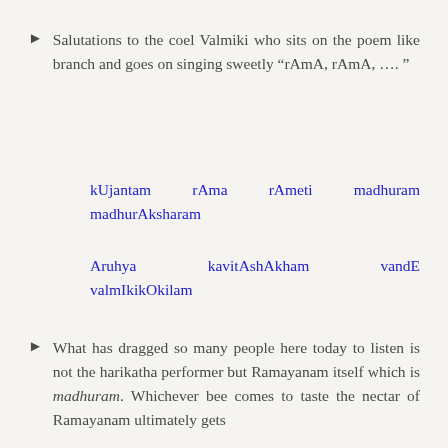Salutations to the coel Valmiki who sits on the poem like branch and goes on singing sweetly “rAmA, rAmA, …. “
kUjantam rAma rAmeti madhuram madhurAksharam
Aruhya kavitAshAkham vandE valmIkikOkilam
What has dragged so many people here today to listen is not the harikatha performer but Ramayanam itself which is madhuram. Whichever bee comes to taste the nectar of Ramayanam ultimately gets